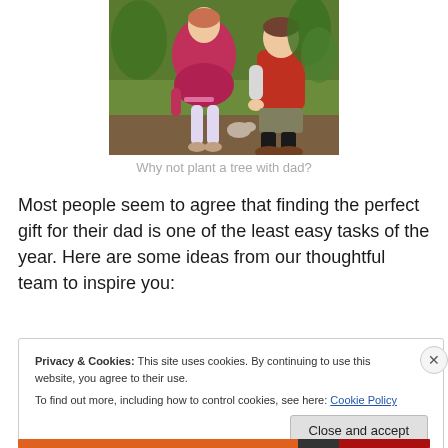[Figure (photo): A child in a pink/red puffer jacket and an adult in a red long-sleeve top bending down outdoors near green plants and grass, apparently planting a tree together.]
Why not plant a tree with dad?
Most people seem to agree that finding the perfect gift for their dad is one of the least easy tasks of the year. Here are some ideas from our thoughtful team to inspire you:
Privacy & Cookies: This site uses cookies. By continuing to use this website, you agree to their use.
To find out more, including how to control cookies, see here: Cookie Policy